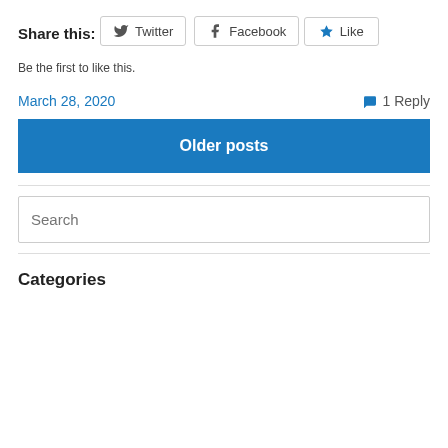Share this:
[Figure (other): Twitter and Facebook share buttons rendered as bordered button elements]
[Figure (other): Like button with blue star icon]
Be the first to like this.
March 28, 2020
1 Reply
Older posts
Search
Categories